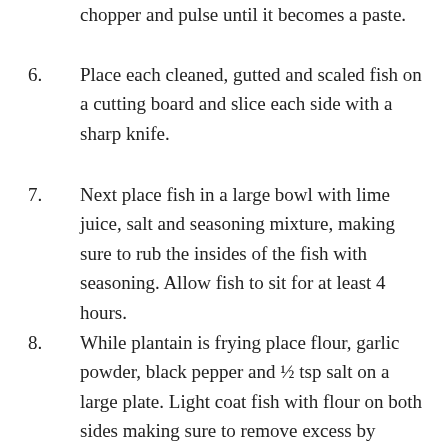chopper and pulse until it becomes a paste.
6. Place each cleaned, gutted and scaled fish on a cutting board and slice each side with a sharp knife.
7. Next place fish in a large bowl with lime juice, salt and seasoning mixture, making sure to rub the insides of the fish with seasoning. Allow fish to sit for at least 4 hours.
8. While plantain is frying place flour, garlic powder, black pepper and ½ tsp salt on a large plate. Light coat fish with flour on both sides making sure to remove excess by